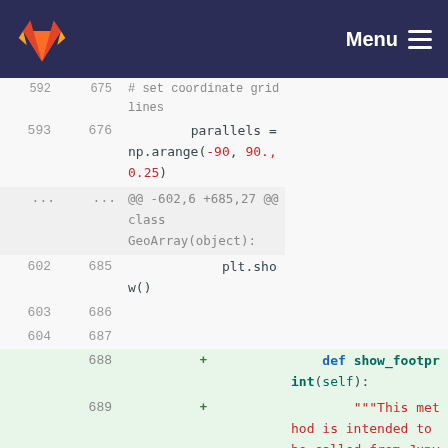Menu
[Figure (screenshot): GitLab-style code diff viewer showing Python source code lines 593-696, with added lines (688-695) highlighted in green showing a new show_footprint method definition]
593  676      parallels = np.arange(-90, 90., 0.25)
...  ...  @@ -602,6 +685,27 @@ class GeoArray(object):
602  685          plt.show()
603  686
604  687
     688  +     def show_footprint(self):
     689  +         """This method is intended to be called from Jupyter Notebook and shows a web map containing the calculated
     690  +         footprint of GeoArray."""
     691  +
     692  +         try:
     693  +             import folium, geojson
     694  +         except ImportError:
     695  +             folium, geojson = None, None
     696  +         if not folium or not